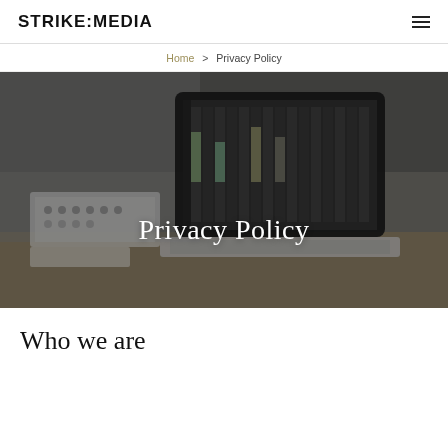STRIKE:MEDIA
Home > Privacy Policy
[Figure (photo): A MacBook laptop on a desk displaying a digital audio workstation (DAW) software, with audio mixing equipment and cables visible in the background. Studio setting.]
Privacy Policy
Who we are